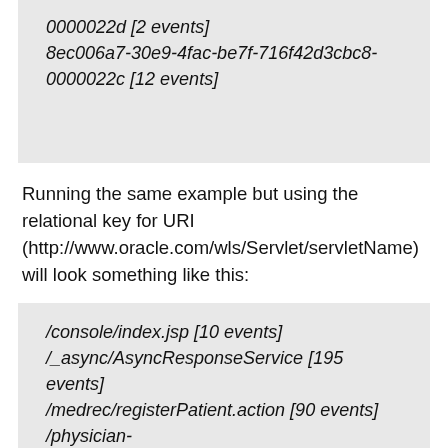0000022d [2 events]
8ec006a7-30e9-4fac-be7f-716f42d3cbc8-0000022c [12 events]
Running the same example but using the relational key for URI (http://www.oracle.com/wls/Servlet/servletName) will look something like this:
/console/index.jsp [10 events]
/_async/AsyncResponseService [195 events]
/medrec/registerPatient.action [90 events]
/physician-web/physician/addPrescription.action [448 events]
/console/images/button_bg_mo.png [7 events]
/physician-web/physician/viewPatients.action [432 events]
/medrec/admin/home.action [48 events]